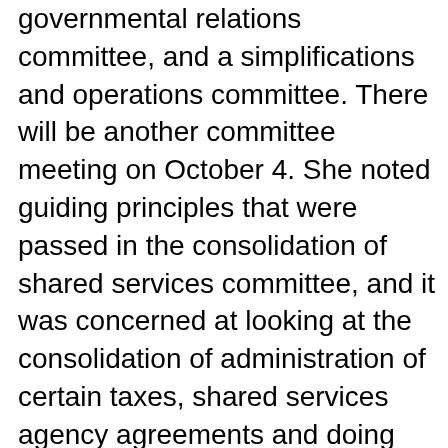governmental relations committee, and a simplifications and operations committee. There will be another committee meeting on October 4. She noted guiding principles that were passed in the consolidation of shared services committee, and it was concerned at looking at the consolidation of administration of certain taxes, shared services agency agreements and doing more work in terms of fleet management. She said one of the nine recommendations of the customer service transparency performance and accountability subcommittee was to make sure it had a one-stop shop and also making sure there are incentives for people to use e-commerce for taking care of as many things as possible on-line. She said there was a budget transparency initiative, recommendation #6, which was to reform the budget rules, regulations and laws to change the budget cycle, developing an inventory of all real property owned by the Commonwealth and publishing the information on-line, and a value for money criteria, where it recommended that value for money information be